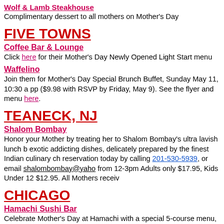Wolf & Lamb Steakhouse
Complimentary dessert to all mothers on Mother's Day
FIVE TOWNS
Coffee Bar & Lounge
Click here for their Mother's Day Newly Opened Light Start menu
Waffelino
Join them for Mother's Day Special Brunch Buffet, Sunday May 11, 10:30 a pp ($9.98 with RSVP by Friday, May 9). See the flyer and menu here.
TEANECK, NJ
Shalom Bombay
Honor your Mother by treating her to Shalom Bombay's ultra lavish lunch b exotic addicting dishes, delicately prepared by the finest Indian culinary ch reservation today by calling 201-530-5939, or email shalombombay@yaho from 12-3pm Adults only $17.95, Kids Under 12 $12.95. All Mothers receiv
CHICAGO
Hamachi Sushi Bar
Celebrate Mother's Day at Hamachi with a special 5-course menu, with kio
FLORIDA
Chai Wok
Mother's Day Special - All moms receive a complementary glass of wine w